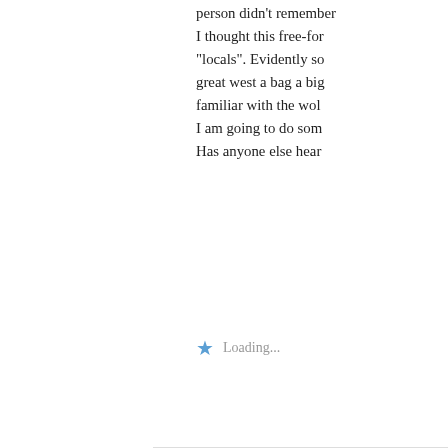person didn't remember... I thought this free-for... "locals". Evidently so... great west a bag a big... familiar with the wol... I am going to do som... Has anyone else hear...
Loading...
Jay says:
October 5, 2007 at 12:53
The ad must've been lower 48 as of yet.
Loading...
[Figure (illustration): Green geometric avatar icon with diamond pattern for user Jay]
Mack P. Bray says:
October 5, 2007 at 7:30 p
[Figure (photo): Photo of Mack P. Bray - person outdoors]
d. Bailey Hill said he mention of Canada o... specifics, next time "